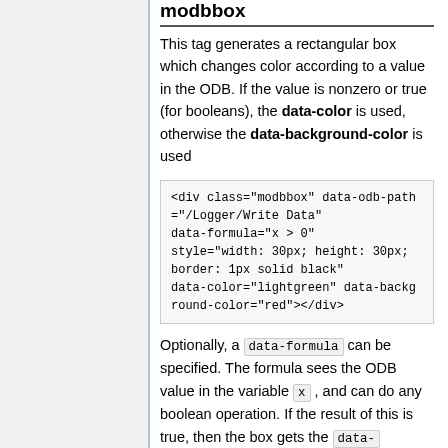modbbox
This tag generates a rectangular box which changes color according to a value in the ODB. If the value is nonzero or true (for booleans), the data-color is used, otherwise the data-background-color is used
<div class="modbbox" data-odb-path="/Logger/Write Data" data-formula="x > 0" style="width: 30px; height: 30px; border: 1px solid black" data-color="lightgreen" data-background-color="red"></div>
Optionally, a data-formula can be specified. The formula sees the ODB value in the variable x , and can do any boolean operation. If the result of this is true, then the box gets the data-